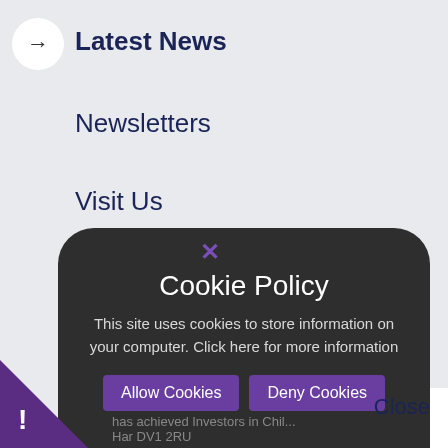Latest News
Newsletters
Visit Us
Calendar
Social Wall
Principal's blog
Cookie Policy
This site uses cookies to store information on your computer. Click here for more information
Allow Cookies
Deny Cookies
Close